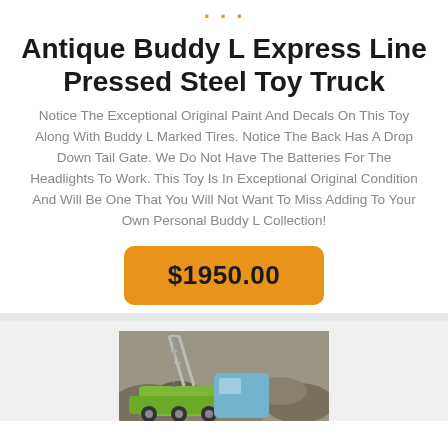· · ·
Antique Buddy L Express Line Pressed Steel Toy Truck
Notice The Exceptional Original Paint And Decals On This Toy Along With Buddy L Marked Tires. Notice The Back Has A Drop Down Tail Gate. We Do Not Have The Batteries For The Headlights To Work. This Toy Is In Exceptional Original Condition And Will Be One That You Will Not Want To Miss Adding To Your Own Personal Buddy L Collection!
$1950.00
[Figure (photo): A toy crane/excavator vehicle, green and blue colored, shown against a rocky background.]